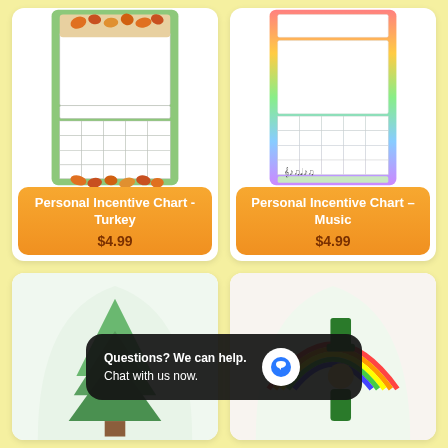[Figure (illustration): Personal Incentive Chart with Turkey/autumn theme - green bordered chart with grid cells and autumn leaf decorations]
Personal Incentive Chart - Turkey
$4.99
[Figure (illustration): Personal Incentive Chart with Music theme - rainbow-bordered chart with grid cells and musical notes at the bottom]
Personal Incentive Chart - Music
$4.99
[Figure (illustration): Personal Incentive Chart with Christmas tree theme - partially visible]
[Figure (illustration): Personal Incentive Chart with St. Patrick's Day / leprechaun and rainbow theme - partially visible]
Questions? We can help.
Chat with us now.